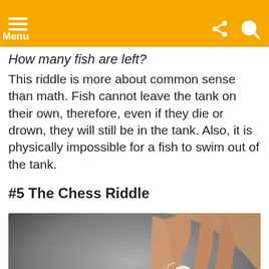Menu
How many fish are left?
This riddle is more about common sense than math. Fish cannot leave the tank on their own, therefore, even if they die or drown, they will still be in the tank. Also, it is physically impossible for a fish to swim out of the tank.
#5 The Chess Riddle
[Figure (photo): Close-up photo of a hand picking up a white chess knight piece, with other chess pieces (black pawn, black king, white pieces) blurred in the background on a dark surface.]